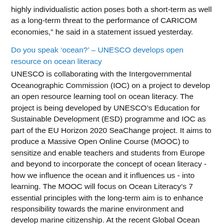highly individualistic action poses both a short-term as well as a long-term threat to the performance of CARICOM economies," he said in a statement issued yesterday.
Do you speak ‘ocean?’ – UNESCO develops open resource on ocean literacy
UNESCO is collaborating with the Intergovernmental Oceanographic Commission (IOC) on a project to develop an open resource learning tool on ocean literacy. The project is being developed by UNESCO’s Education for Sustainable Development (ESD) programme and IOC as part of the EU Horizon 2020 SeaChange project. It aims to produce a Massive Open Online Course (MOOC) to sensitize and enable teachers and students from Europe and beyond to incorporate the concept of ocean literacy - how we influence the ocean and it influences us - into learning. The MOOC will focus on Ocean Literacy’s 7 essential principles with the long-term aim is to enhance responsibility towards the marine environment and develop marine citizenship. At the recent Global Ocean Science Education Workshop in Paris highlighting the importance of “citizen science” in protecting the marine environment, Bernard Combes of UNESCO’s Global Action Programme on ESD participated in panel discussions on the Influence of Informal Science Education on Policy and Connections Between Citizen Science Informal Science Education and Poli...